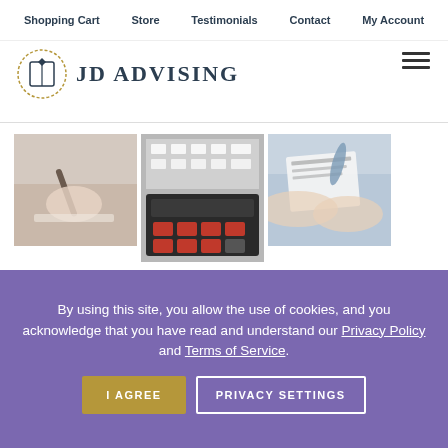Shopping Cart | Store | Testimonials | Contact | My Account
[Figure (logo): JD Advising logo with book icon and text 'JD ADVISING']
[Figure (photo): Three photos: person writing with pen, calculator with red buttons, hands holding documents]
[Figure (other): Gold circular badge with the number 0]
By using this site, you allow the use of cookies, and you acknowledge that you have read and understand our Privacy Policy and Terms of Service.
I AGREE | PRIVACY SETTINGS